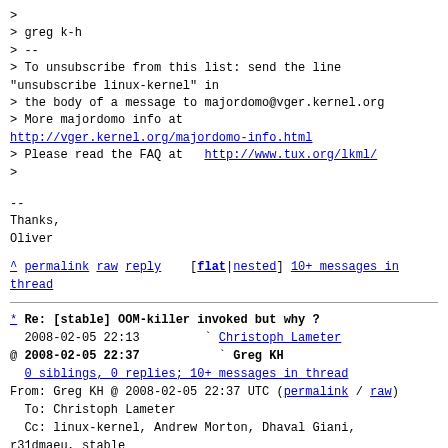>
> greg k-h
> --
> To unsubscribe from this list: send the line
"unsubscribe linux-kernel" in
> the body of a message to majordomo@vger.kernel.org
> More majordomo info at
http://vger.kernel.org/majordomo-info.html
> Please read the FAQ at  http://www.tux.org/lkml/
>
--
Thanks,
Oliver
^ permalink raw reply   [flat|nested] 10+ messages in thread
* Re: [stable] OOM-killer invoked but why ?
  2008-02-05 22:13        ` Christoph Lameter
@ 2008-02-05 22:37          ` Greg KH
  0 siblings, 0 replies; 10+ messages in thread
From: Greg KH @ 2008-02-05 22:37 UTC (permalink / raw)
  To: Christoph Lameter
  Cc: linux-kernel, Andrew Morton, Dhaval Giani,
r31dmaeu, stable

On Tue, Feb 05, 2008 at 02:13:12PM -0800, Christoph